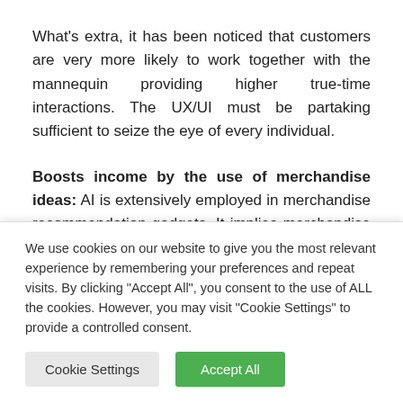What's extra, it has been noticed that customers are very more likely to work together with the mannequin providing higher true-time interactions. The UX/UI must be partaking sufficient to seize the eye of every individual.
Boosts income by the use of merchandise ideas: AI is extensively employed in merchandise recommendation gadgets. It implies merchandise or knowledge to finish
We use cookies on our website to give you the most relevant experience by remembering your preferences and repeat visits. By clicking "Accept All", you consent to the use of ALL the cookies. However, you may visit "Cookie Settings" to provide a controlled consent.